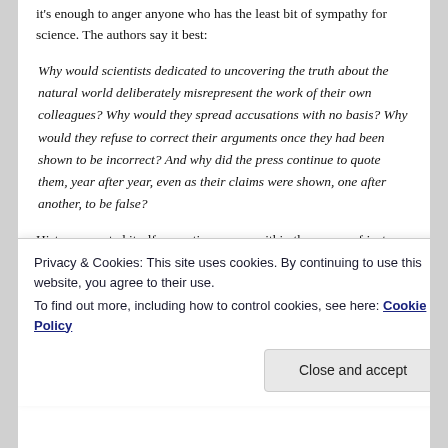it's enough to anger anyone who has the least bit of sympathy for science. The authors say it best:
Why would scientists dedicated to uncovering the truth about the natural world deliberately misrepresent the work of their own colleagues? Why would they spread accusations with no basis? Why would they refuse to correct their arguments once they had been shown to be incorrect? And why did the press continue to quote them, year after year, even as their claims were shown, one after another, to be false?
History repeated itself many times over, within the course of just a few decades. The attack against climate science that we are currently witnessing is just a larger-scale rehash of the pro-industry, anti-Communist fight against
Privacy & Cookies: This site uses cookies. By continuing to use this website, you agree to their use.
To find out more, including how to control cookies, see here: Cookie Policy